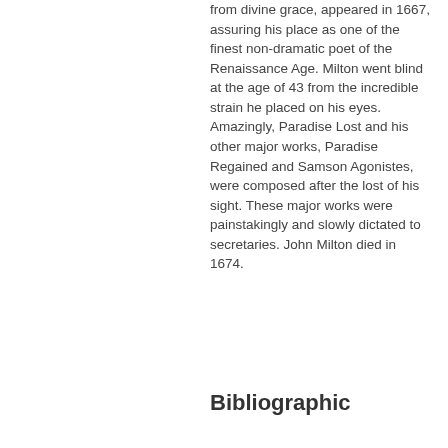from divine grace, appeared in 1667, assuring his place as one of the finest non-dramatic poet of the Renaissance Age. Milton went blind at the age of 43 from the incredible strain he placed on his eyes. Amazingly, Paradise Lost and his other major works, Paradise Regained and Samson Agonistes, were composed after the lost of his sight. These major works were painstakingly and slowly dictated to secretaries. John Milton died in 1674.
Bibliographic